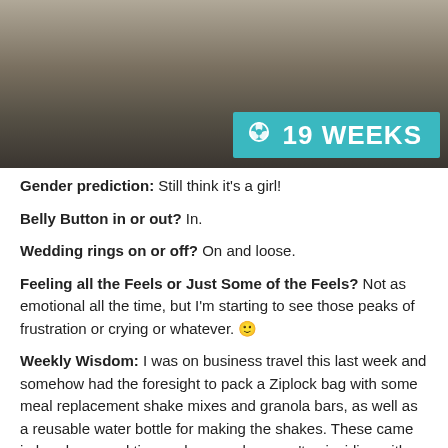[Figure (photo): A person in a dark top holding up what appears to be a stuffed animal or item of clothing, indoors. A teal banner overlay reads '19 WEEKS' with a flower icon.]
Gender prediction: Still think it's a girl!
Belly Button in or out? In.
Wedding rings on or off? On and loose.
Feeling all the Feels or Just Some of the Feels? Not as emotional all the time, but I'm starting to see those peaks of frustration or crying or whatever. 🙂
Weekly Wisdom: I was on business travel this last week and somehow had the foresight to pack a Ziplock bag with some meal replacement shake mixes and granola bars, as well as a reusable water bottle for making the shakes. These came in handy several times when meals weren't coinciding with my body's needs (time zones) or